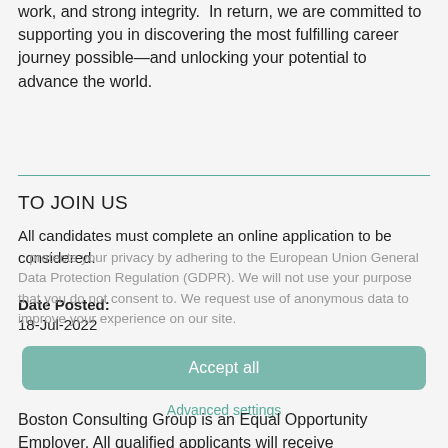work, and strong integrity.  In return, we are committed to supporting you in discovering the most fulfilling career journey possible—and unlocking your potential to advance the world.
TO JOIN US
All candidates must complete an online application to be considered.
protects your privacy by adhering to the European Union General Data Protection Regulation (GDPR). We will not use your purpose that you do not consent to. We request use of anonymous data to improve your experience on our site.
Date Posted:
18-Jul-2022
Accept all
Advanced settings
Boston Consulting Group is an Equal Opportunity Employer. All qualified applicants will receive